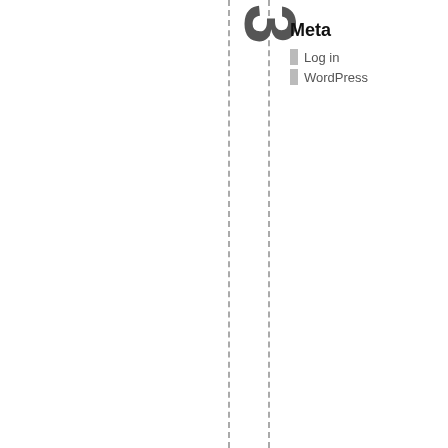2pond Rails 3
Meta
Log in
WordPress